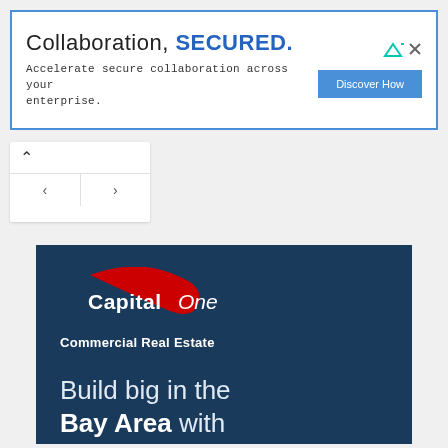[Figure (screenshot): Advertisement banner: 'Collaboration, SECURED.' with subtext 'Accelerate secure collaboration across your enterprise.' and a 'Discover How' button on the right. Blue border around the ad.]
[Figure (screenshot): Navigation UI element with an up chevron and left/right arrow buttons]
[Figure (logo): Capital One Commercial Real Estate advertisement on dark navy background. Shows Capital One logo (red swoosh with 'Capital One' text), 'Commercial Real Estate' subtitle, and tagline 'Build big in the Bay Area with a Top 10']